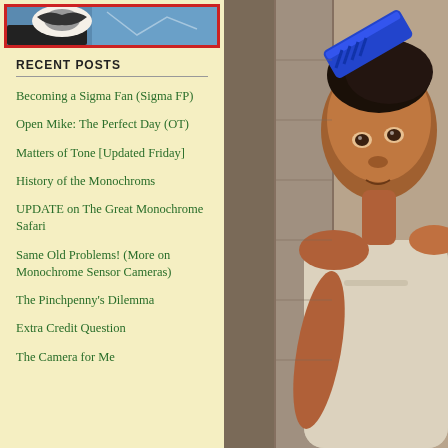[Figure (photo): Partial top image with red border, appears to show a bird/animal, blue background]
RECENT POSTS
Becoming a Sigma Fan (Sigma FP)
Open Mike: The Perfect Day (OT)
Matters of Tone [Updated Friday]
History of the Monochroms
UPDATE on The Great Monochrome Safari
Same Old Problems! (More on Monochrome Sensor Cameras)
The Pinchpenny's Dilemma
Extra Credit Question
The Camera for Me
[Figure (photo): Portrait photo of a young African girl leaning against a stone wall, holding a blue comb to her forehead, wearing a light-colored shirt]